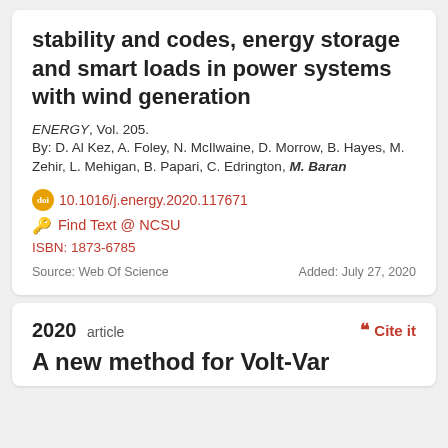stability and codes, energy storage and smart loads in power systems with wind generation
ENERGY, Vol. 205.
By: D. Al Kez, A. Foley, N. McIlwaine, D. Morrow, B. Hayes, M. Zehir, L. Mehigan, B. Papari, C. Edrington, M. Baran
10.1016/j.energy.2020.117671
Find Text @ NCSU
ISBN: 1873-6785
Source: Web Of Science
Added: July 27, 2020
2020 article
A new method for Volt-Var